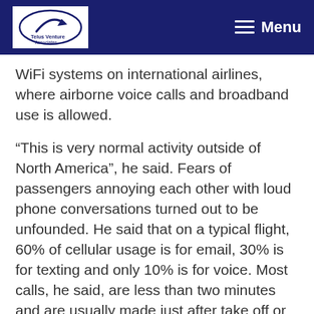Telus Venture Associates — Menu
WiFi systems on international airlines, where airborne voice calls and broadband use is allowed.
“This is very normal activity outside of North America”, he said. Fears of passengers annoying each other with loud phone conversations turned out to be unfounded. He said that on a typical flight, 60% of cellular usage is for email, 30% is for texting and only 10% is for voice. Most calls, he said, are less than two minutes and are usually made just after take off or just before